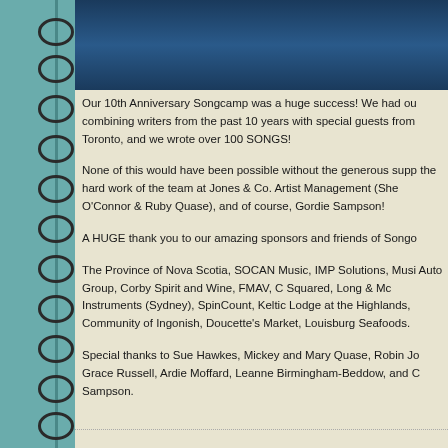[Figure (photo): Dark blue photo strip at top of notebook page]
Our 10th Anniversary Songcamp was a huge success! We had ou combining writers from the past 10 years with special guests from Toronto, and we wrote over 100 SONGS!
None of this would have been possible without the generous supp the hard work of the team at Jones & Co. Artist Management (She O'Connor & Ruby Quase), and of course, Gordie Sampson!
A HUGE thank you to our amazing sponsors and friends of Songo
The Province of Nova Scotia, SOCAN Music, IMP Solutions, Musi Auto Group, Corby Spirit and Wine, FMAV, C Squared, Long & Mc Instruments (Sydney), SpinCount, Keltic Lodge at the Highlands, Community of Ingonish, Doucette's Market, Louisburg Seafoods.
Special thanks to Sue Hawkes, Mickey and Mary Quase, Robin Jo Grace Russell, Ardie Moffard, Leanne Birmingham-Beddow, and C Sampson.